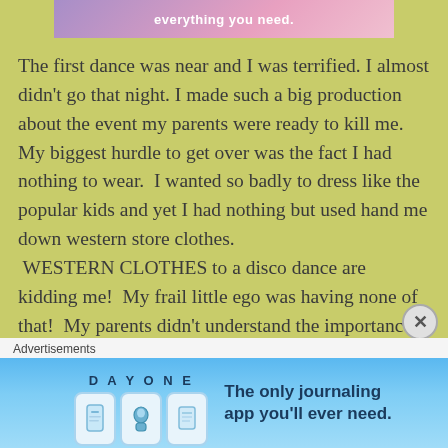[Figure (screenshot): Top advertisement banner with purple-pink gradient and text 'everything you need.']
The first dance was near and I was terrified. I almost didn't go that night. I made such a big production about the event my parents were ready to kill me.  My biggest hurdle to get over was the fact I had nothing to wear.  I wanted so badly to dress like the popular kids and yet I had nothing but used hand me down western store clothes.  WESTERN CLOTHES to a disco dance are kidding me!  My frail little ego was having none of that!  My parents didn't understand the importance of this dance.  I wanted so bad to be there, looking my best just so I could have the opportunity in a dark room
[Figure (screenshot): Bottom advertisement for Day One journaling app with blue gradient background, app icons, and text 'The only journaling app you'll ever need.']